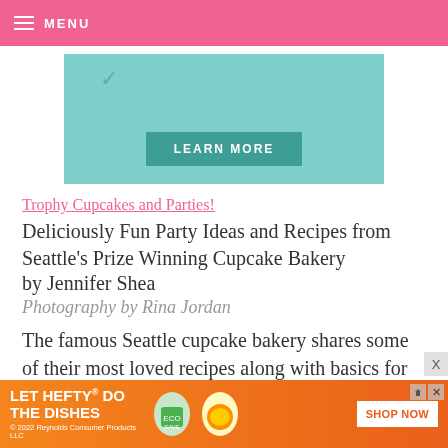MENU
[Figure (screenshot): Teal/mint colored advertisement banner with a LEARN MORE button]
Trophy Cupcakes and Parties!
Deliciously Fun Party Ideas and Recipes from Seattle's Prize Winning Cupcake Bakery by Jennifer Shea
Photography by Rina Jordan
The famous Seattle cupcake bakery shares some of their most loved recipes along with basics for part
[Figure (screenshot): Orange advertisement banner: LET HEFTY DO THE DISHES with product images and SHOP NOW button]